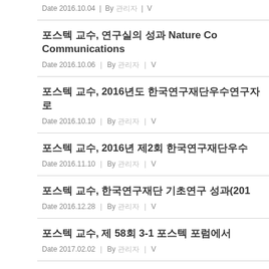Date 2016.10.04 | By 관리자 | V
포스텍 교수, 연구실의 성과 Nature Communications
Date 2016.10.06 | By 관리자 | V
포스텍 교수, 2016년도 한국연구재단우수연구자로
Date 2016.10.10 | By 관리자 | V
포스텍 교수, 2016년 제2회 한국연구재단우수
Date 2016.11.10 | By 관리자 | V
포스텍 교수, 한국연구재단 기초연구 성과(2017)
Date 2016.12.28 | By 관리자 | V
포스텍 교수, 제 58회 3-1 포스텍 포럼에서
Date 2017.02.02 | By 관리자 | V
포스텍 교수, 연구실의 성과 eLife 저널 에
Date 2017.02.03 | By 관리자 | V